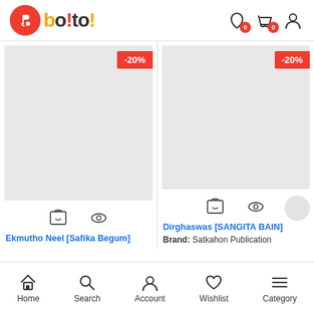[Figure (logo): Boito! app logo with red circle icon and colored text]
[Figure (screenshot): Two product cards with -20% discount badges, cart and view icons, product titles Ekmutho Neel [Safika Begum] and Dirghaswas [SANGITA BAIN], Brand: Satkahon Publication]
Ekmutho Neel [Safika Begum]
Dirghaswas [SANGITA BAIN]
Brand: Satkahon Publication
Home  Search  Account  Wishlist  Category